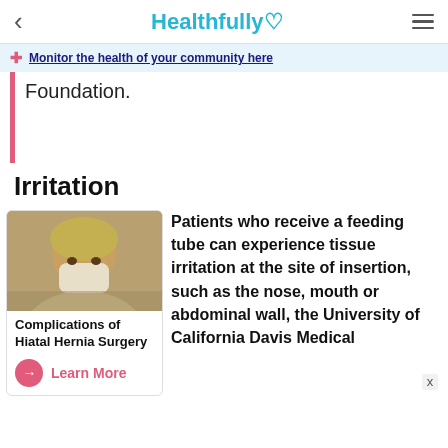Healthfully
Monitor the health of your community here
Foundation.
Irritation
[Figure (photo): Card with photo of surgeon in mask and gown, titled 'Complications of Hiatal Hernia Surgery' with a Learn More button]
Patients who receive a feeding tube can experience tissue irritation at the site of insertion, such as the nose, mouth or abdominal wall, the University of California Davis Medical